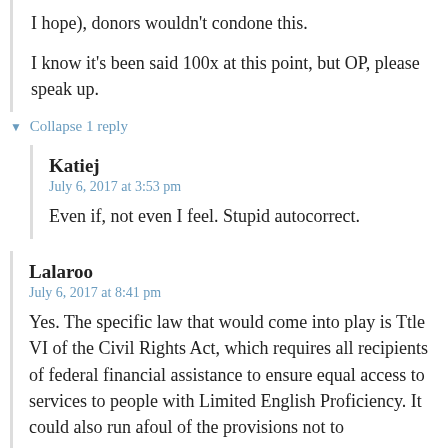I hope), donors wouldn't condone this.

I know it's been said 100x at this point, but OP, please speak up.
▼ Collapse 1 reply
Katiej
July 6, 2017 at 3:53 pm
Even if, not even I feel. Stupid autocorrect.
Lalaroo
July 6, 2017 at 8:41 pm
Yes. The specific law that would come into play is Ttle VI of the Civil Rights Act, which requires all recipients of federal financial assistance to ensure equal access to services to people with Limited English Proficiency. It could also run afoul of the provisions not to